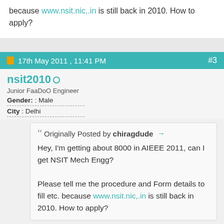because www.nsit.nic,.in is still back in 2010. How to apply?
17th May 2011 , 11:41 PM  #3
nsit2010
Junior FaaDoO Engineer
Gender: : Male
City : Delhi
Originally Posted by chiragdude → Hey, I'm getting about 8000 in AIEEE 2011, can I get NSIT Mech Engg? Please tell me the procedure and Form details to fill etc. because www.nsit.nic,.in is still back in 2010. How to apply?